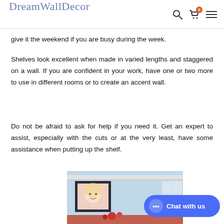DreamWallDecor
give it the weekend if you are busy during the week.
Shelves look excellent when made in varied lengths and staggered on a wall. If you are confident in your work, have one or two more to use in different rooms or to create an accent wall.
Do not be afraid to ask for help if you need it. Get an expert to assist, especially with the cuts or at the very least, have some assistance when putting up the shelf.
[Figure (photo): A room scene showing a light blue wall with crown molding, a framed artwork on the wall, and red items near the bottom.]